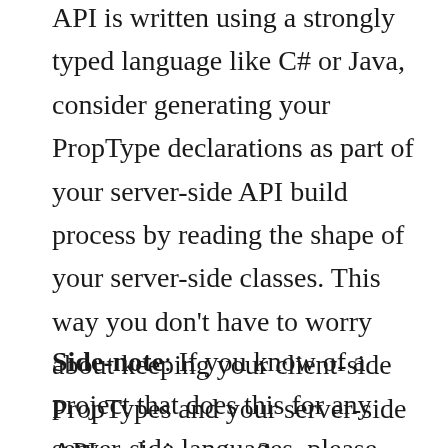API is written using a strongly typed language like C# or Java, consider generating your PropType declarations as part of your server-side API build process by reading the shape of your server-side classes. This way you don't have to worry about keeping your client-side PropTypes and your server-side API code in sync. ?
Side-note: If you know of a project that does this for any server-side languages, please